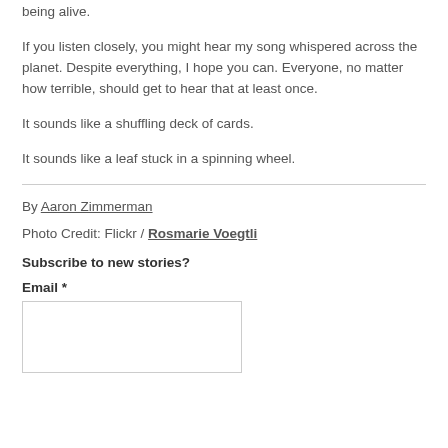being alive.
If you listen closely, you might hear my song whispered across the planet. Despite everything, I hope you can. Everyone, no matter how terrible, should get to hear that at least once.
It sounds like a shuffling deck of cards.
It sounds like a leaf stuck in a spinning wheel.
By Aaron Zimmerman
Photo Credit: Flickr / Rosmarie Voegtli
Subscribe to new stories?
Email *